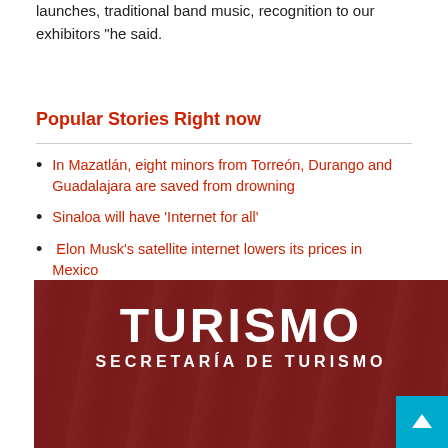launches, traditional band music, recognition to our exhibitors "he said.
Popular Stories Right now
In Mazatlán, eight minors from Torreón, Durango and Guadalajara are saved from drowning
Sinaloa will have 'Internet for all'
Elon Musk's satellite internet lowers its prices in Mexico
[Figure (photo): Three people wearing face masks seated in front of a dark red TURISMO / SECRETARÍA DE TURISMO banner. A back-to-top button is visible in the lower right corner.]